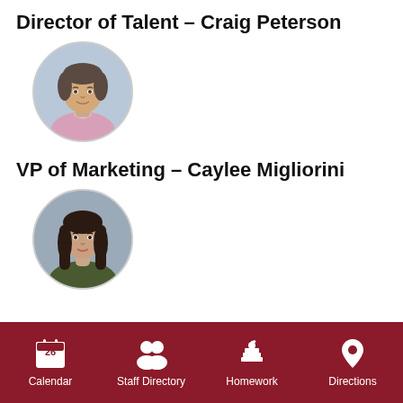Director of Talent – Craig Peterson
[Figure (photo): Circular headshot of Craig Peterson, a man with short dark hair wearing a light pink shirt, photographed against a blue-grey background.]
VP of Marketing – Caylee Migliorini
[Figure (photo): Circular headshot of Caylee Migliorini, a woman with long dark brown hair wearing a dark olive/green top, photographed against a blue-grey background.]
Calendar  Staff Directory  Homework  Directions